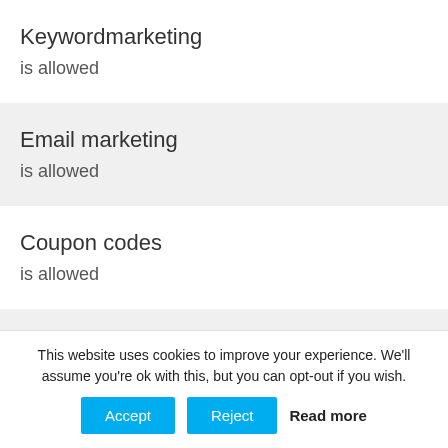Keywordmarketing
is allowed
Email marketing
is allowed
Coupon codes
is allowed
Product listing ads
This website uses cookies to improve your experience. We'll assume you're ok with this, but you can opt-out if you wish.
Accept
Reject
Read more